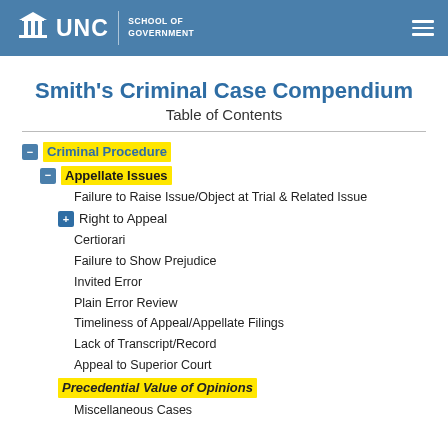UNC School of Government
Smith's Criminal Case Compendium
Table of Contents
Criminal Procedure
Appellate Issues
Failure to Raise Issue/Object at Trial & Related Issue
Right to Appeal
Certiorari
Failure to Show Prejudice
Invited Error
Plain Error Review
Timeliness of Appeal/Appellate Filings
Lack of Transcript/Record
Appeal to Superior Court
Precedential Value of Opinions
Miscellaneous Cases